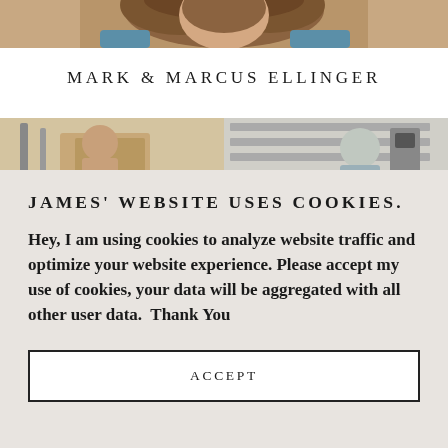[Figure (photo): Partial photo of a woman with brown hair at the top of the page]
MARK & MARCUS ELLINGER
[Figure (photo): Two-panel photo showing people in what appears to be an indoor setting]
JAMES' WEBSITE USES COOKIES.
Hey, I am using cookies to analyze website traffic and optimize your website experience. Please accept my use of cookies, your data will be aggregated with all other user data.  Thank You
ACCEPT